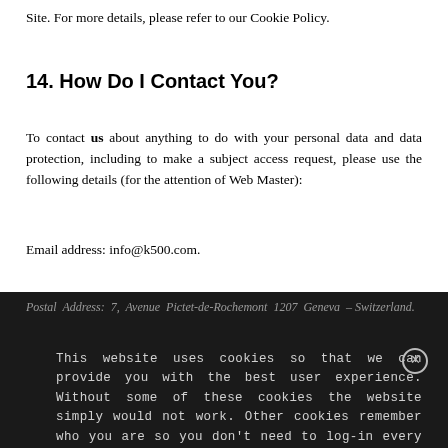Site. For more details, please refer to our Cookie Policy.
14. How Do I Contact You?
To contact us about anything to do with your personal data and data protection, including to make a subject access request, please use the following details (for the attention of Web Master):
Email address: info@k500.com.
Postal Address: 7, Avenue Pictet-de-Rochemont 1207 Geneva – Switzerland.
This website uses cookies so that we can provide you with the best user experience. Without some of these cookies the website simply would not work. Other cookies remember who you are so you don't need to log-in every time you visit the site. For our full cookie policy, please click here
15. Changes to this Privacy Policy
We may change this Privacy Policy from time to time. This may be necessary, for example, if the law changes or if we change our business in a way that affects personal data protection.
Any changes will be immediately posted on our Site and you will be